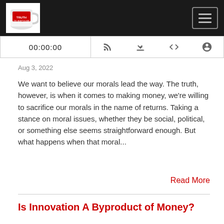TastyTrade Truth or Skepticism podcast header with logo and hamburger menu
00:00:00
Aug 3, 2022
We want to believe our morals lead the way. The truth, however, is when it comes to making money, we're willing to sacrifice our morals in the name of returns. Taking a stance on moral issues, whether they be social, political, or something else seems straightforward enough. But what happens when that moral...
Read More
Is Innovation A Byproduct of Money?
SOSNOFF / RATIGAN - TRUTH OR SKEPTICISM FROM TASTYTRADI
Is Innovation A Byproduct of Money?
00:00:00